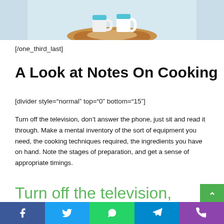[Figure (photo): Partial photo showing a wooden board with mugs/cups on a light blue background, cropped at top]
[/one_third_last]
A Look at Notes On Cooking
[divider style="normal" top="0" bottom="15"]
Turn off the television, don't answer the phone, just sit and read it through. Make a mental inventory of the sort of equipment you need, the cooking techniques required, the ingredients you have on hand. Note the stages of preparation, and get a sense of appropriate timings.
Turn off the television, don't